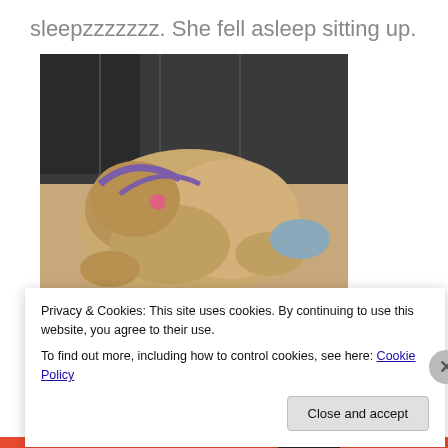sleepzzzzzzz. She fell asleep sitting up.
[Figure (photo): A fluffy dog sleeping curled up on a car seat, wearing a purple harness with tags.]
Then did a sleeping face plant in the towel.
[Figure (photo): Inside of a car, showing car seats and a window.]
Privacy & Cookies: This site uses cookies. By continuing to use this website, you agree to their use.
To find out more, including how to control cookies, see here: Cookie Policy